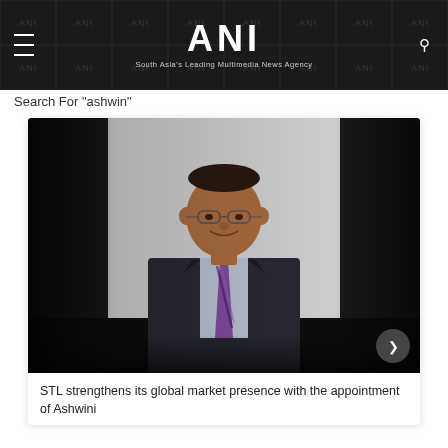ANI — South Asia's Leading Multimedia News Agency
Search For "ashwin"
[Figure (photo): Professional headshot of a man wearing a dark suit and purple striped tie, smiling at the camera against a light background]
STL strengthens its global market presence with the appointment of Ashwini